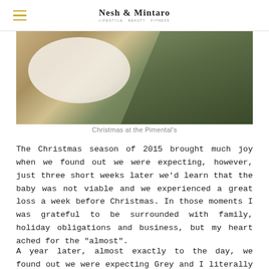Nesh & Minature
[Figure (photo): Photo of a Christmas table setting with a white plate, eucalyptus greenery, and wooden surface. Caption: Christmas at the Pimental's]
Christmas at the Pimental's
The Christmas season of 2015 brought much joy when we found out we were expecting, however, just three short weeks later we'd learn that the baby was not viable and we experienced a great loss a week before Christmas. In those moments I was grateful to be surrounded with family, holiday obligations and business, but my heart ached for the "almost".
A year later, almost exactly to the day, we found out we were expecting Grey and I literally fell to